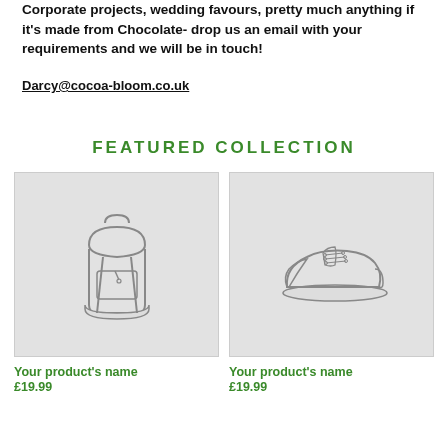Corporate projects, wedding favours, pretty much anything if it's made from Chocolate- drop us an email with your requirements and we will be in touch!
Darcy@cocoa-bloom.co.uk
FEATURED COLLECTION
[Figure (illustration): Product placeholder image showing a backpack outline on light grey background]
Your product's name
£19.99
[Figure (illustration): Product placeholder image showing a sneaker/shoe outline on light grey background]
Your product's name
£19.99